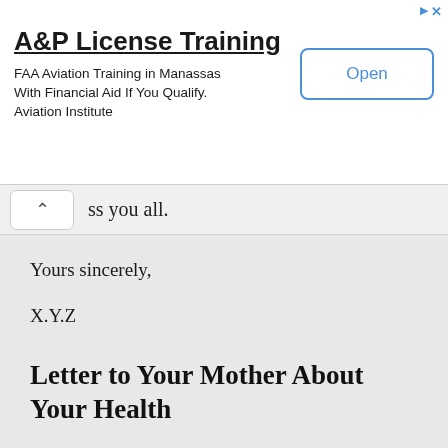[Figure (screenshot): Advertisement banner for A&P License Training. Title: 'A&P License Training'. Subtitle: 'FAA Aviation Training in Manassas With Financial Aid If You Qualify. Aviation Institute'. Button: 'Open'. Has ad icon and close X in top right.]
ss you all.
Yours sincerely,
X.Y.Z
Letter to Your Mother About Your Health
Dear Mama,
Hope you, and all are doing well in health. I'm